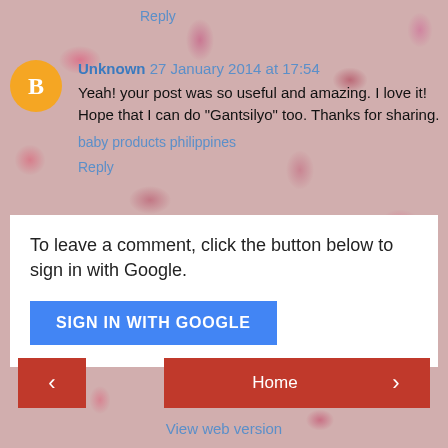Reply
Unknown  27 January 2014 at 17:54
Yeah! your post was so useful and amazing. I love it! Hope that I can do "Gantsilyo" too. Thanks for sharing.
baby products philippines
Reply
To leave a comment, click the button below to sign in with Google.
SIGN IN WITH GOOGLE
< Home >
View web version
Powered by Blogger.